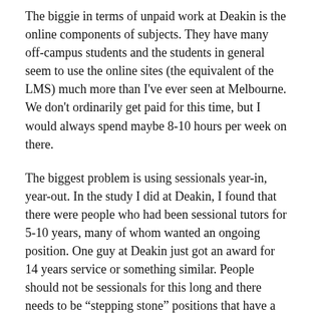The biggie in terms of unpaid work at Deakin is the online components of subjects. They have many off-campus students and the students in general seem to use the online sites (the equivalent of the LMS) much more than I've ever seen at Melbourne. We don't ordinarily get paid for this time, but I would always spend maybe 8-10 hours per week on there.
The biggest problem is using sessionals year-in, year-out. In the study I did at Deakin, I found that there were people who had been sessional tutors for 5-10 years, many of whom wanted an ongoing position. One guy at Deakin just got an award for 14 years service or something similar. People should not be sessionals for this long and there needs to be “stepping stone” positions that have a little more job security, but may not have all the trappings of tenure.